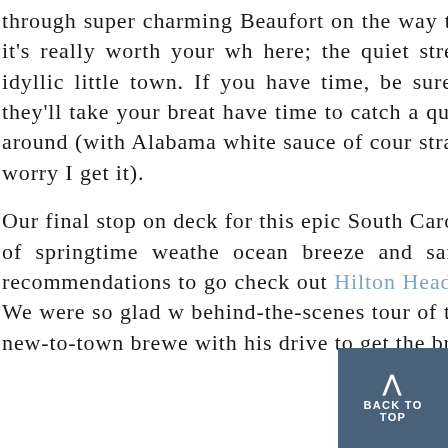through super charming Beaufort on the way to Hilton Head passing through South Carolina, it's really worth your while here; the quiet streets of antebellum homes nestled on the most idyllic little town. If you have time, be sure to rent bikes streets covered in Spanish moss; they'll take your breath away. have time to catch a quick bite, you must go to Q on the Bay best BBQ around (with Alabama white sauce of course) and strawberry cake (recipe stays in the family...don't worry I'll get it).
Our final stop on deck for this epic South Carolina road trip was such a treat to get a little taste of springtime weather ocean breeze and sand between our toes put a smile on all of recommendations to go check out Hilton Head Brewing Co., first brewery located on the north end. We were so glad we got a behind-the-scenes tour of the brewery, we enjoyed their finest IPA's at the bar. The new-to-town brewer impressed us with his drive to get the brewery back to boom